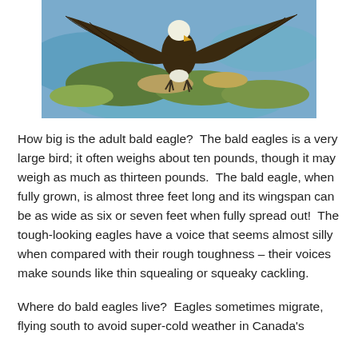[Figure (photo): A bald eagle in flight with wings spread wide, soaring over a wetland landscape with water, green vegetation, and a river delta visible below.]
How big is the adult bald eagle?  The bald eagles is a very large bird; it often weighs about ten pounds, though it may weigh as much as thirteen pounds.  The bald eagle, when fully grown, is almost three feet long and its wingspan can be as wide as six or seven feet when fully spread out!  The tough-looking eagles have a voice that seems almost silly when compared with their rough toughness – their voices make sounds like thin squealing or squeaky cackling.
Where do bald eagles live?  Eagles sometimes migrate, flying south to avoid super-cold weather in Canada's